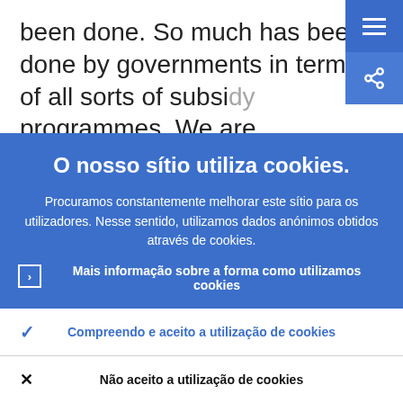been done. So much has been done by governments in terms of all sorts of subsidy programmes. We are maintaining favourable financing conditions at the ECR
O nosso sítio utiliza cookies.
Procuramos constantemente melhorar este sítio para os utilizadores. Nesse sentido, utilizamos dados anónimos obtidos através de cookies.
Mais informação sobre a forma como utilizamos cookies
✓ Compreendo e aceito a utilização de cookies
✗ Não aceito a utilização de cookies